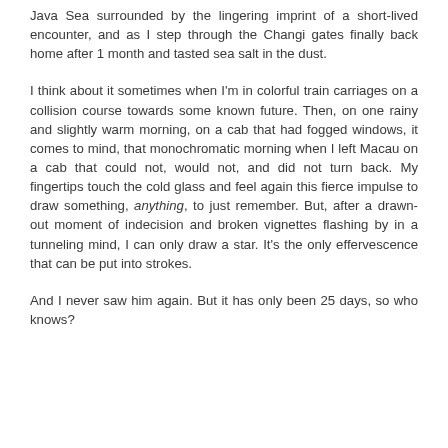Java Sea surrounded by the lingering imprint of a short-lived encounter, and as I step through the Changi gates finally back home after 1 month and tasted sea salt in the dust.
I think about it sometimes when I'm in colorful train carriages on a collision course towards some known future. Then, on one rainy and slightly warm morning, on a cab that had fogged windows, it comes to mind, that monochromatic morning when I left Macau on a cab that could not, would not, and did not turn back. My fingertips touch the cold glass and feel again this fierce impulse to draw something, anything, to just remember. But, after a drawn-out moment of indecision and broken vignettes flashing by in a tunneling mind, I can only draw a star. It's the only effervescence that can be put into strokes.
And I never saw him again. But it has only been 25 days, so who knows?